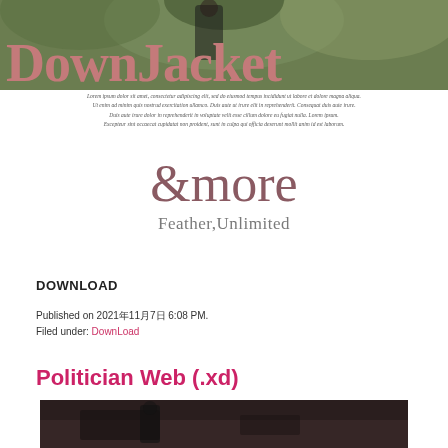[Figure (photo): Top banner photo showing a person outdoors among green foliage, partially visible, with a semi-transparent large title 'DownJacket' overlaid in pink/mauve serif font]
DownJacket
Lorem ipsum style small text block in italics, several lines centered beneath the title banner
&more
Feather,Unlimited
DOWNLOAD
Published on 2021年11月7日 6:08 PM.
Filed under: DownLoad
Politician Web (.xd)
[Figure (photo): Bottom partial photo showing a dark indoor scene, appears to be a person at a desk]